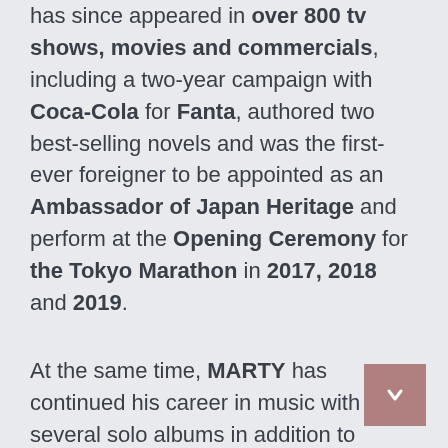has since appeared in over 800 tv shows, movies and commercials, including a two-year campaign with Coca-Cola for Fanta, authored two best-selling novels and was the first-ever foreigner to be appointed as an Ambassador of Japan Heritage and perform at the Opening Ceremony for the Tokyo Marathon in 2017, 2018 and 2019.
At the same time, MARTY has continued his career in music with several solo albums in addition to writing and performing with the top artists in Japanese music, racking up countless chart hits including a #1 with Smap, two #2 songs with Momoiro Clover, a #2